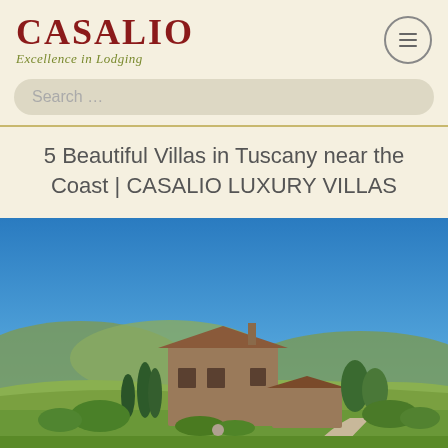CASALIO — Excellence in Lodging
Search …
5 Beautiful Villas in Tuscany near the Coast | CASALIO LUXURY VILLAS
[Figure (photo): Aerial view of a rustic Tuscan stone villa surrounded by cypress trees, rolling green hills, and a wide blue sky]